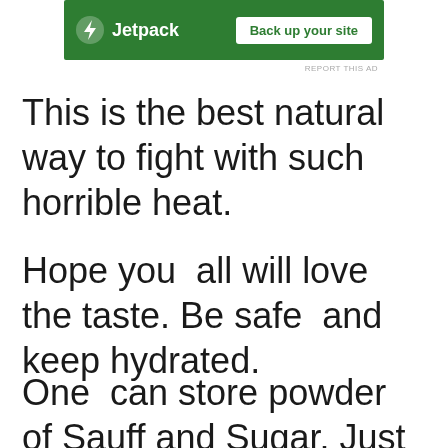[Figure (logo): Jetpack advertisement banner with green background, lightning bolt logo, and 'Back up your site' button]
REPORT THIS AD
This is the best natural way to fight with such horrible heat.
Hope you  all will love the taste. Be safe  and keep hydrated.
One  can store powder of Sauff and Sugar. Just mix it with water